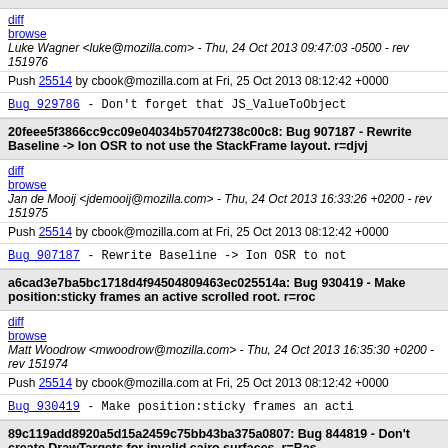diff browse | Luke Wagner <luke@mozilla.com> - Thu, 24 Oct 2013 09:47:03 -0500 - rev 151976
Push 25514 by cbook@mozilla.com at Fri, 25 Oct 2013 08:12:42 +0000
Bug_929786 - Don't forget that JS_ValueToObject
20feee5f3866cc9cc09e04034b5704f2738c00c8: Bug 907187 - Rewrite Baseline -> Ion OSR to not use the StackFrame layout. r=djvj
diff browse | Jan de Mooij <jdemooij@mozilla.com> - Thu, 24 Oct 2013 16:33:26 +0200 - rev 151975
Push 25514 by cbook@mozilla.com at Fri, 25 Oct 2013 08:12:42 +0000
Bug_907187 - Rewrite Baseline -> Ion OSR to not
a6cad3e7ba5bc1718d4f94504809463ec025514a: Bug 930419 - Make position:sticky frames an active scrolled root. r=roc
diff browse | Matt Woodrow <mwoodrow@mozilla.com> - Thu, 24 Oct 2013 16:35:30 +0200 - rev 151974
Push 25514 by cbook@mozilla.com at Fri, 25 Oct 2013 08:12:42 +0000
Bug_930419 - Make position:sticky frames an acti
89c119add8920a5d15a2459c75bb43ba375a0807: Bug 844819 - Don't create DrawTargets for invalid cairo surfaces. r=Bas
diff browse | Matt Woodrow <mwoodrow@mozilla.com> - Thu, 24 Oct